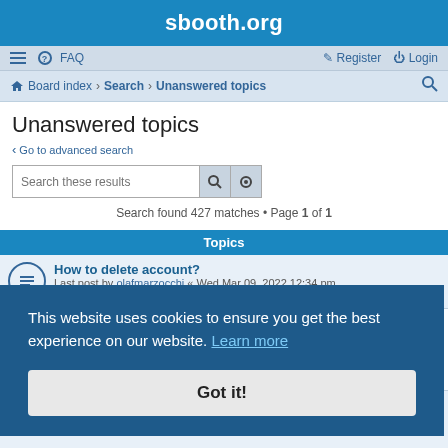sbooth.org
≡  FAQ    Register  Login
Board index · Search · Unanswered topics
Unanswered topics
< Go to advanced search
Search these results
Search found 427 matches • Page 1 of 1
Topics
How to delete account?
Last post by olafmarzocchi « Wed Mar 09, 2022 12:34 pm
Posted in General
This website uses cookies to ensure you get the best experience on our website. Learn more
Got it!
Edit both Album and Track Artist
Last post by deejay_jun « Sun Apr 26, 2020 8:45 am